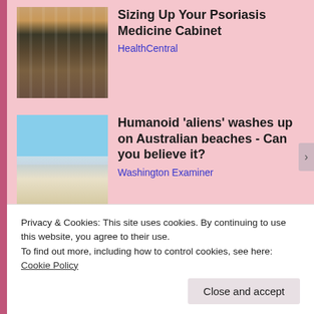[Figure (photo): Woman in pharmacy/store aisle looking at product on shelf]
Sizing Up Your Psoriasis Medicine Cabinet
HealthCentral
[Figure (photo): Beach scene with blue sky, waves and sandy shore]
Humanoid 'aliens' washes up on Australian beaches - Can you believe it?
Washington Examiner
Share this:
Tweet  Email  Save  Post  Print
Privacy & Cookies: This site uses cookies. By continuing to use this website, you agree to their use.
To find out more, including how to control cookies, see here: Cookie Policy
Close and accept